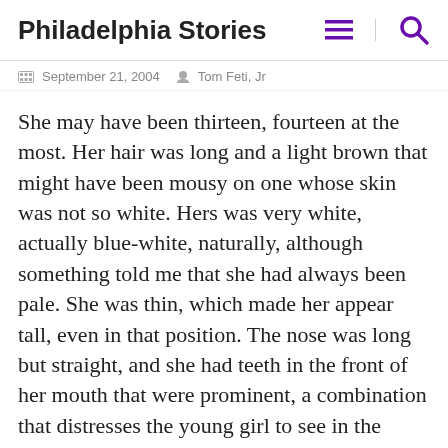Philadelphia Stories
September 21, 2004   Tom Feti, Jr
She may have been thirteen, fourteen at the most. Her hair was long and a light brown that might have been mousy on one whose skin was not so white. Hers was very white, actually blue-white, naturally, although something told me that she had always been pale. She was thin, which made her appear tall, even in that position. The nose was long but straight, and she had teeth in the front of her mouth that were prominent, a combination that distresses the young girl to see in the mirror, but promises future handsomeness. Her cheeks still had a wan touch of rose in them, though they were sunken, and her ears were delicate and angular. There was red around her lips, in